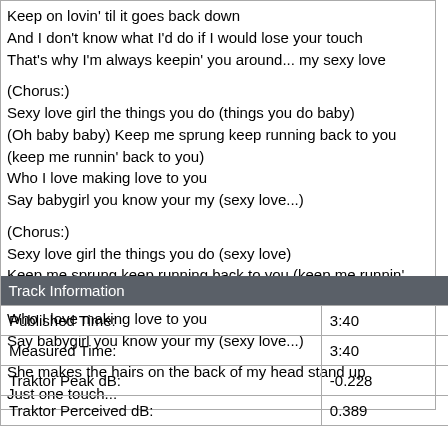Keep on lovin' til it goes back down
And I don't know what I'd do if I would lose your touch
That's why I'm always keepin' you around... my sexy love

(Chorus:)
Sexy love girl the things you do (things you do baby)
(Oh baby baby) Keep me sprung keep running back to you (keep me runnin' back to you)
Who I love making love to you
Say babygirl you know your my (sexy love...)

(Chorus:)
Sexy love girl the things you do (sexy love)
Keep me sprung keep running back to you (keep me runnin' back to you)
Who I love making love to you
Say babygirl you know your my (sexy love...)

She makes the hairs on the back of my head stand up
Just one touch...
| Track Information |  |
| --- | --- |
| Published Time: | 3:40 |
| Measured Time: | 3:40 |
| Traktor Peak dB: | -0.228 |
| Traktor Perceived dB: | 0.389 |